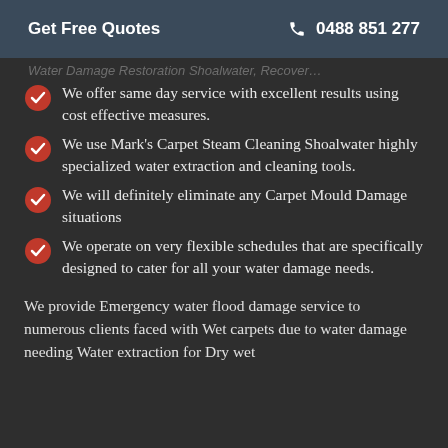Get Free Quotes   📞 0488 851 277
Water Damage... [partially visible header text]
We offer same day service with excellent results using cost effective measures.
We use Mark's Carpet Steam Cleaning Shoalwater highly specialized water extraction and cleaning tools.
We will definitely eliminate any Carpet Mould Damage situations
We operate on very flexible schedules that are specifically designed to cater for all your water damage needs.
We provide Emergency water flood damage service to numerous clients faced with Wet carpets due to water damage needing Water extraction for Dry wet carpets. Our clients face...